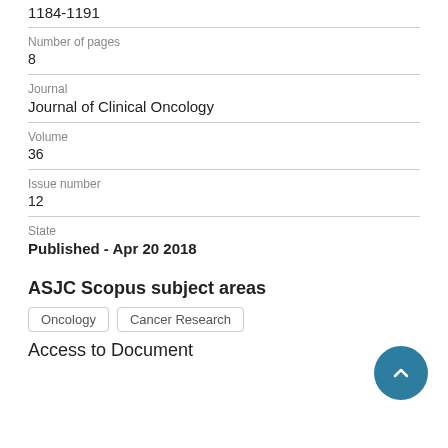1184-1191
Number of pages
8
Journal
Journal of Clinical Oncology
Volume
36
Issue number
12
State
Published - Apr 20 2018
ASJC Scopus subject areas
Oncology
Cancer Research
Access to Document